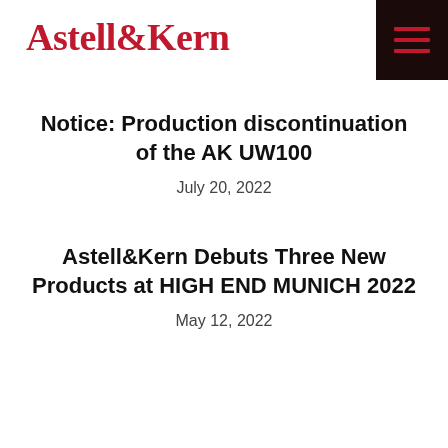Astell&Kern
Notice: Production discontinuation of the AK UW100
July 20, 2022
Astell&Kern Debuts Three New Products at HIGH END MUNICH 2022
May 12, 2022